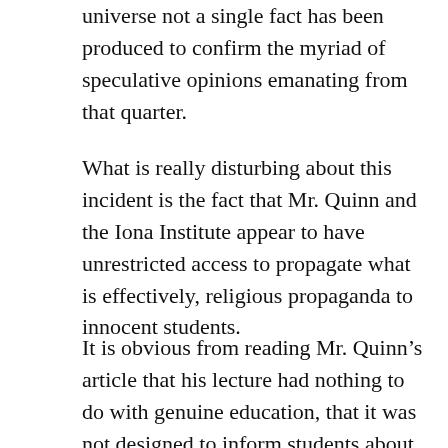universe not a single fact has been produced to confirm the myriad of speculative opinions emanating from that quarter.
What is really disturbing about this incident is the fact that Mr. Quinn and the Iona Institute appear to have unrestricted access to propagate what is effectively, religious propaganda to innocent students.
It is obvious from reading Mr. Quinn’s article that his lecture had nothing to do with genuine education, that it was not designed to inform students about the pros and cons in the debate between science and religion.